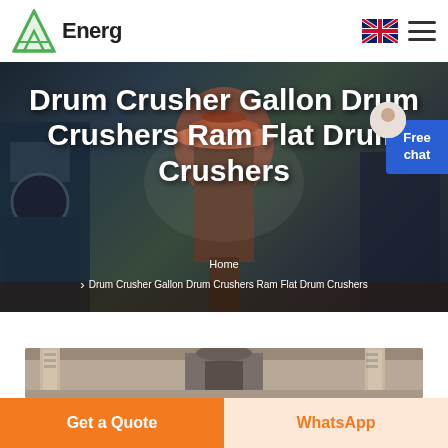Energ
[Figure (screenshot): Hero banner showing industrial drum crusher machinery with workers in background, dark blue-gray industrial setting]
Drum Crusher Gallon Drum Crushers Ram Flat Drum Crushers
Home > Drum Crusher Gallon Drum Crushers Ram Flat Drum Crushers
[Figure (photo): Product photo of drum crusher machine in industrial warehouse setting, grayscale/sepia toned]
Get a Quote
WhatsApp